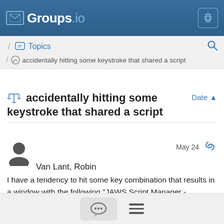Groups.io
/ Topics / accidentally hitting some keystroke that shared a script
accidentally hitting some keystroke that shared a script
Van Lant, Robin   May 24
I have a tendency to hit some key combination that results in a window with the following “JAWS Script Manager - [Shared:Outlook.JSS]”  Anyone know what I’m hitting that does this?  I can exit out of the screen easily enough, but is there any other repercussion of this being triggered?  Using JAWS 2022 on